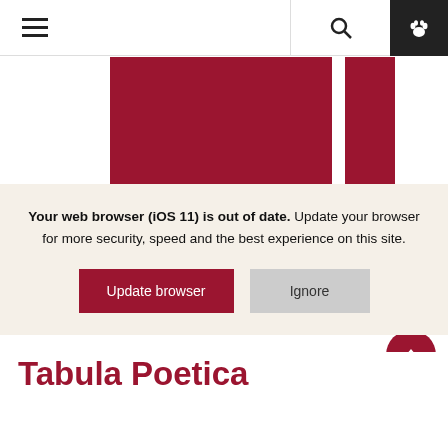Navigation bar with hamburger menu, search, and paw icon
[Figure (screenshot): Website screenshot showing a card carousel with 'Poetry Reading Series' card in dark red, partially visible right card, left/right navigation arrows, and a back-to-top button]
Your web browser (iOS 11) is out of date. Update your browser for more security, speed and the best experience on this site.
Update browser | Ignore
Tabula Poetica